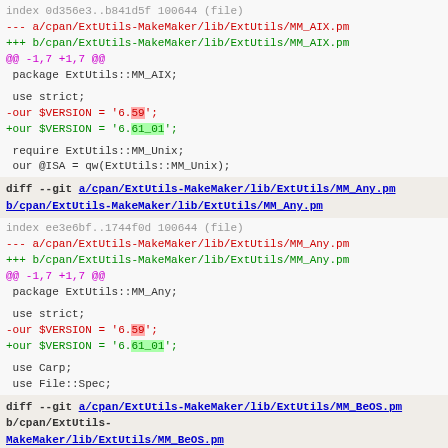[Figure (screenshot): Git diff output showing changes to ExtUtils-MakeMaker Perl module files. Shows diffs for MM_AIX.pm, MM_Any.pm, and beginning of MM_BeOS.pm. Version changes from 6.59 to 6.61_01.]